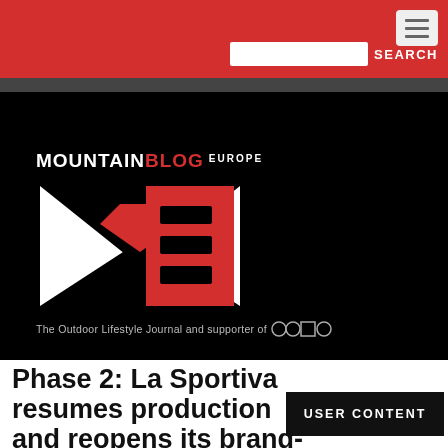MountainBlog Europe — SEARCH
[Figure (logo): MountainBlog Europe logo on black background with large MB emblem in white and red. Tagline reads: The Outdoor Lifestyle Journal and supporter of EOCA]
Phase 2: La Sportiva resumes production and reopens its brand-stores
USER CONTENT